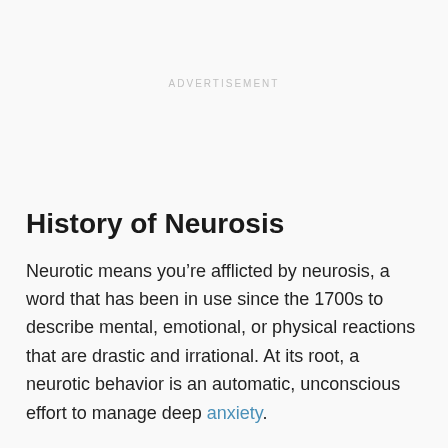ADVERTISEMENT
History of Neurosis
Neurotic means you’re afflicted by neurosis, a word that has been in use since the 1700s to describe mental, emotional, or physical reactions that are drastic and irrational. At its root, a neurotic behavior is an automatic, unconscious effort to manage deep anxiety.